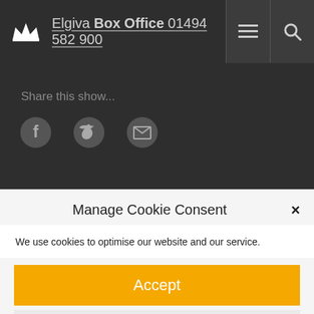Elgiva Box Office 01494 582 900
Share this show...
[Figure (screenshot): Social share icons: Facebook, Twitter, Email]
Manage Cookie Consent
We use cookies to optimise our website and our service.
Accept
Deny
Preferences